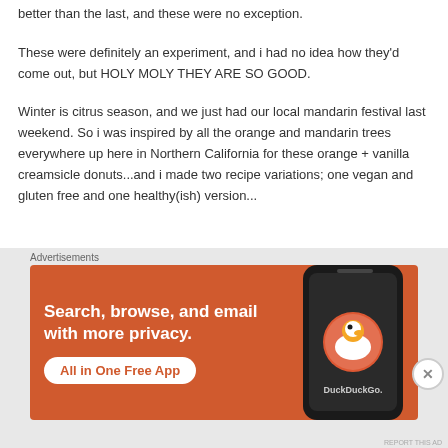better than the last, and these were no exception.
These were definitely an experiment, and i had no idea how they'd come out, but HOLY MOLY THEY ARE SO GOOD.
Winter is citrus season, and we just had our local mandarin festival last weekend. So i was inspired by all the orange and mandarin trees everywhere up here in Northern California for these orange + vanilla creamsicle donuts...and i made two recipe variations; one vegan and gluten free and one healthy(ish) version...
Advertisements
[Figure (other): DuckDuckGo advertisement banner: orange background with white text 'Search, browse, and email with more privacy.' and 'All in One Free App' button, with a smartphone showing the DuckDuckGo app icon on the right.]